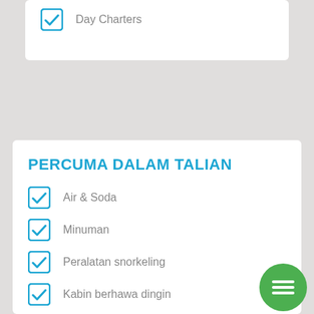Day Charters
PERCUMA DALAM TALIAN
Air & Soda
Minuman
Peralatan snorkeling
Kabin berhawa dingin
Bluetooth
Bar
Jaket keselamatan / alat keselamatan yang